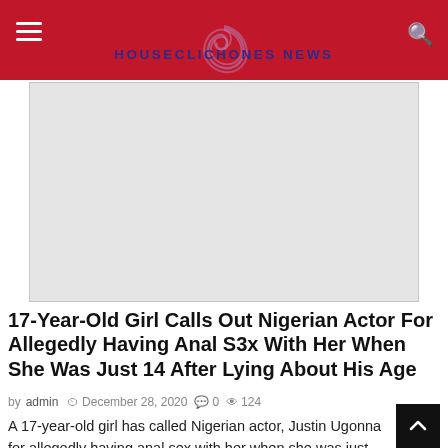HOUSECLICHONES NEWS
[Figure (photo): Advertisement or image placeholder block (light gray rectangle)]
17-Year-Old Girl Calls Out Nigerian Actor For Allegedly Having Anal S3x With Her When She Was Just 14 After Lying About His Age
by admin  December 28, 2020  0  124
A 17-year-old girl has called Nigerian actor, Justin Ugonna for allegedly having anal sex with her when she was just 14 after about his age.  According...